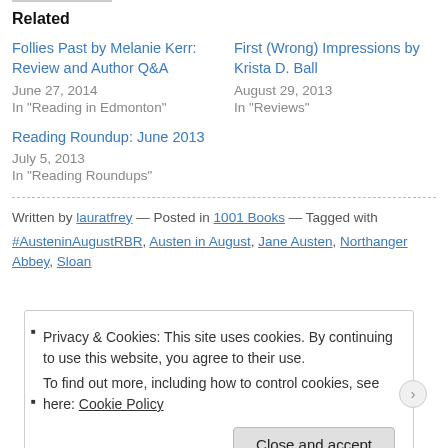Related
Follies Past by Melanie Kerr: Review and Author Q&A
June 27, 2014
In "Reading in Edmonton"
First (Wrong) Impressions by Krista D. Ball
August 29, 2013
In "Reviews"
Reading Roundup: June 2013
July 5, 2013
In "Reading Roundups"
Written by lauratfrey — Posted in 1001 Books — Tagged with #AusteninAugustRBR, Austen in August, Jane Austen, Northanger Abbey, Sloan
Privacy & Cookies: This site uses cookies. By continuing to use this website, you agree to their use. To find out more, including how to control cookies, see here: Cookie Policy